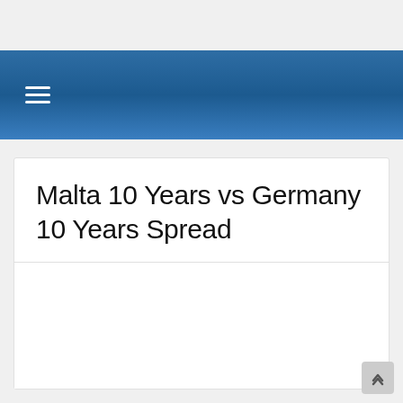≡
Malta 10 Years vs Germany 10 Years Spread